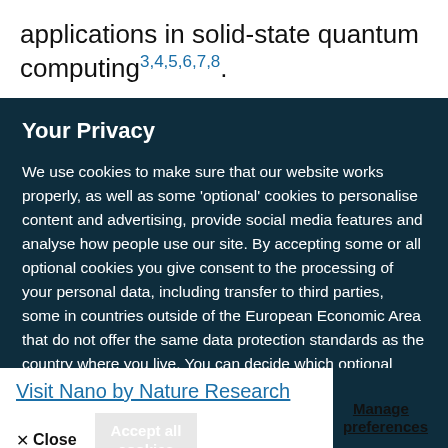applications in solid-state quantum computing3,4,5,6,7,8.
Your Privacy
We use cookies to make sure that our website works properly, as well as some 'optional' cookies to personalise content and advertising, provide social media features and analyse how people use our site. By accepting some or all optional cookies you give consent to the processing of your personal data, including transfer to third parties, some in countries outside of the European Economic Area that do not offer the same data protection standards as the country where you live. You can decide which optional cookies to accept by clicking on 'Manage Settings', where you can also find more information about how your personal data is processed. Further information can be found in our privacy policy.
Visit Nano by Nature Research
✕ Close
Accept all cookies
Manage preferences